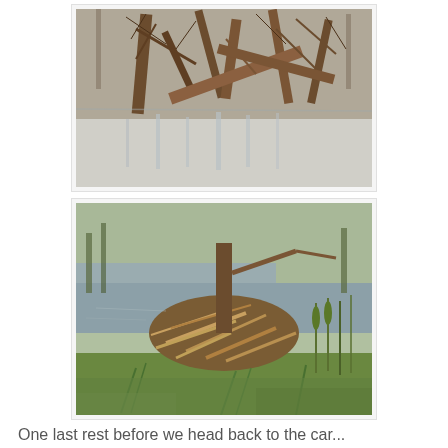[Figure (photo): Flooded woodland scene with fallen trees, bare branches, and reflections on still water — a swamp or wetland environment.]
[Figure (photo): A beaver lodge or pile of sticks and branches in a marshy wetland area, surrounded by water, aquatic plants, and cattails.]
One last rest before we head back to the car...